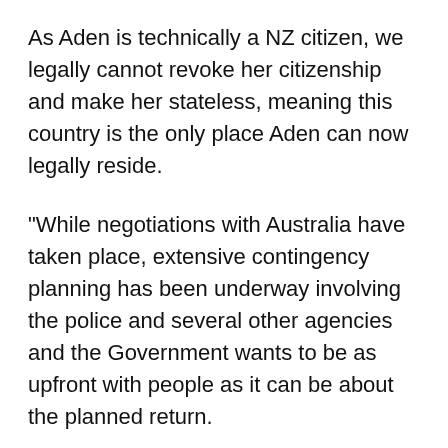As Aden is technically a NZ citizen, we legally cannot revoke her citizenship and make her stateless, meaning this country is the only place Aden can now legally reside.
"While negotiations with Australia have taken place, extensive contingency planning has been underway involving the police and several other agencies and the Government wants to be as upfront with people as it can be about the planned return.
"Planning by agencies has been two-fold - to